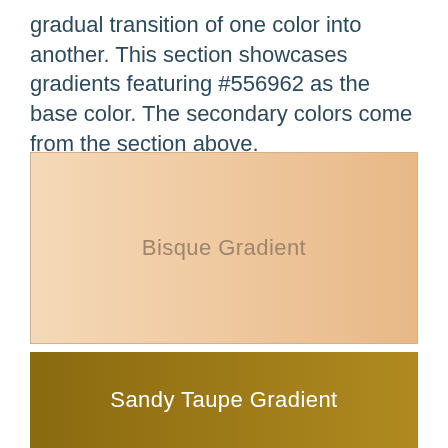gradual transition of one color into another. This section showcases gradients featuring #556962 as the base color. The secondary colors come from the section above.
[Figure (other): A gradient rectangle transitioning from light peach/bisque on the left to a deeper warm tan on the right, labeled 'Bisque Gradient' in the center.]
[Figure (other): A gradient rectangle transitioning from dark olive/golden brown on the left to a slightly lighter golden brown on the right, labeled 'Sandy Taupe Gradient' in the center.]